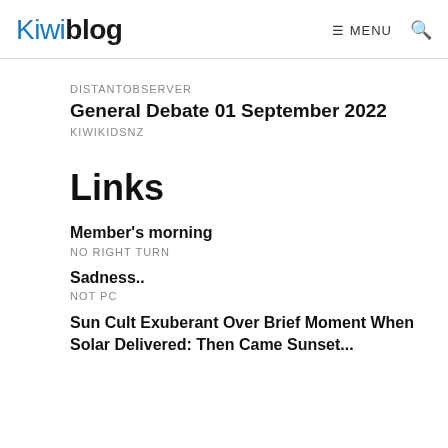Kiwiblog  MENU  🔍
DISTANTOBSERVER
General Debate 01 September 2022
KIWIKIDSNZ
Links
Member's morning
NO RIGHT TURN
Sadness..
NOT PC
Sun Cult Exuberant Over Brief Moment When Solar Delivered: Then Came Sunset...